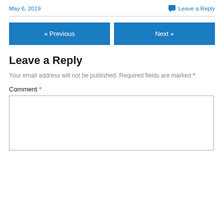May 6, 2019   Leave a Reply
Leave a Reply
Your email address will not be published. Required fields are marked *
Comment *